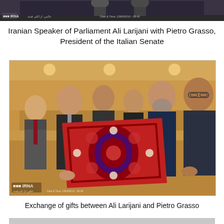[Figure (photo): Top partial photo showing a dark indoor scene with IRNA watermark and timestamp, appears to be a political meeting]
Iranian Speaker of Parliament Ali Larijani with Pietro Grasso, President of the Italian Senate
[Figure (photo): Photo of several men in suits holding up a red Persian rug/carpet as a gift exchange. IRNA watermark visible at bottom left with timestamp 1394/05/13 - 09:48. The group includes Ali Larijani and Pietro Grasso in an indoor conference setting with warm lighting.]
Exchange of gifts between Ali Larijani and Pietro Grasso